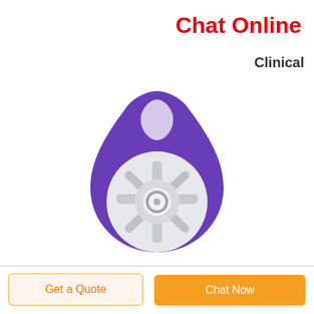Chat Online
Clinical
[Figure (photo): Purple teardrop-shaped medical device (likely a CGM sensor pod or similar wearable medical device) with a clear/transparent center hub featuring a circular port and four radial arms, set against a white background.]
Get a Quote
Chat Now